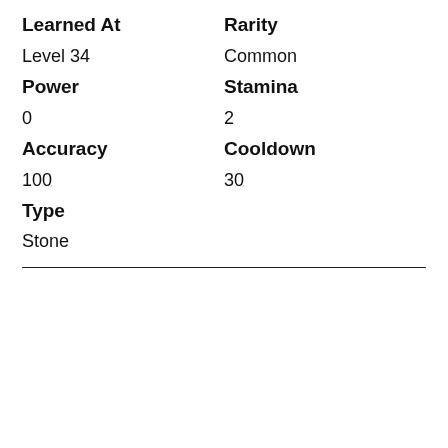| Learned At | Rarity | Power | Stamina | Accuracy | Cooldown | Type |  |
| --- | --- | --- | --- | --- | --- | --- | --- |
| Level 34 | Common |
| 0 | 2 |
| 100 | 30 |
| Stone |  |